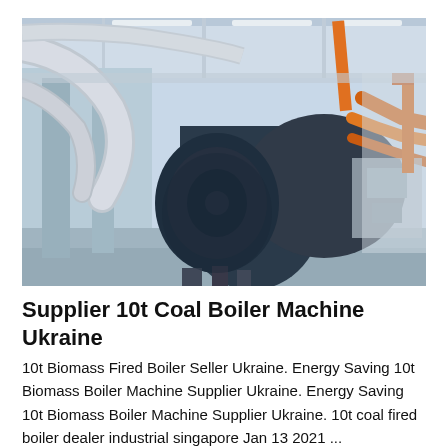[Figure (photo): Industrial boiler room with a large cylindrical dark-blue boiler in the center, surrounded by insulated silver pipes, orange piping on the right, and fluorescent lighting on the ceiling. The photo is taken from a low angle looking up.]
Supplier 10t Coal Boiler Machine Ukraine
10t Biomass Fired Boiler Seller Ukraine. Energy Saving 10t Biomass Boiler Machine Supplier Ukraine. Energy Saving 10t Biomass Boiler Machine Supplier Ukraine. 10t coal fired boiler dealer industrial singapore Jan 13 2021 ...